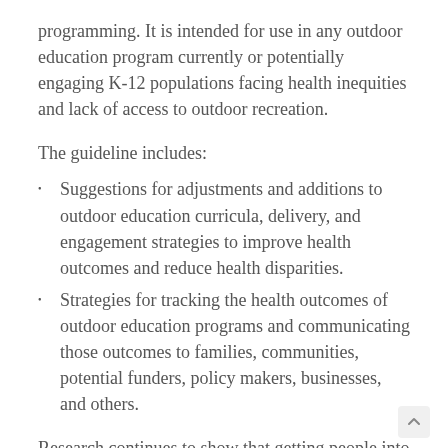programming. It is intended for use in any outdoor education program currently or potentially engaging K-12 populations facing health inequities and lack of access to outdoor recreation.
The guideline includes:
Suggestions for adjustments and additions to outdoor education curricula, delivery, and engagement strategies to improve health outcomes and reduce health disparities.
Strategies for tracking the health outcomes of outdoor education programs and communicating those outcomes to families, communities, potential funders, policy makers, businesses, and others.
Research continues to show that getting people into the outdoors and bringing the outdoors closer to